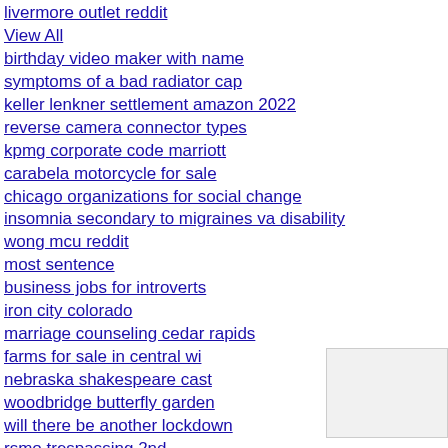livermore outlet reddit
View All
birthday video maker with name
symptoms of a bad radiator cap
keller lenkner settlement amazon 2022
reverse camera connector types
kpmg corporate code marriott
carabela motorcycle for sale
chicago organizations for social change
insomnia secondary to migraines va disability
wong mcu reddit
most sentence
business jobs for introverts
iron city colorado
marriage counseling cedar rapids
farms for sale in central wi
nebraska shakespeare cast
woodbridge butterfly garden
will there be another lockdown
rsmo trespassing 2nd
best spoofers for pc
sedona massage pet friendly homes for rent in boise idaho area
watch when a man loves a woman online free megavideo
townhouses for sale in nassau county long island
App Exclusive - Extra 20% Off Heatwave Styles!*